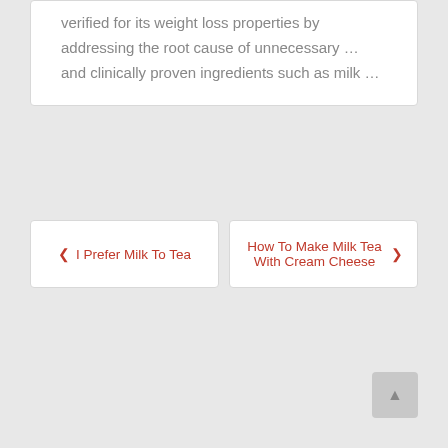verified for its weight loss properties by addressing the root cause of unnecessary … and clinically proven ingredients such as milk …
❮ I Prefer Milk To Tea
How To Make Milk Tea With Cream Cheese ❯